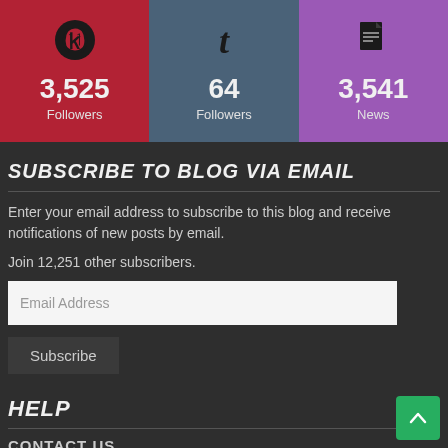[Figure (infographic): Three social media stat cards in a row: Pinterest (red) with 3,525 Followers, Tumblr (slate blue) with 64 Followers, News/Google Drive (purple) with 3,541 News]
SUBSCRIBE TO BLOG VIA EMAIL
Enter your email address to subscribe to this blog and receive notifications of new posts by email.
Join 12,251 other subscribers.
Email Address
Subscribe
HELP
CONTACT US